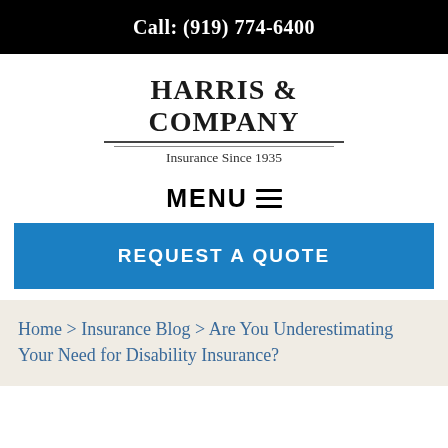Call: (919) 774-6400
[Figure (logo): Harris & Company Insurance Since 1935 logo with company name in bold serif font and tagline below, underlined]
MENU ☰
REQUEST A QUOTE
Home > Insurance Blog > Are You Underestimating Your Need for Disability Insurance?